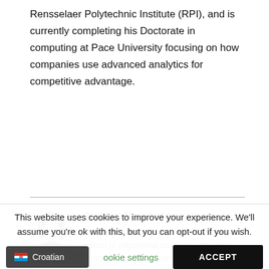Rensselaer Polytechnic Institute (RPI), and is currently completing his Doctorate in computing at Pace University focusing on how companies use advanced analytics for competitive advantage.
Author: Nina Lokin
[Figure (photo): Black and white photo of Nina Lokin, a woman with shoulder-length hair]
Nina je asistentica u udruzi MBA Croatia. U udruzi je odgovorna za objave na web stranici, kreiranje infografika i ostalog vizualnog sadržaja, organizaciju predavanja i...
This website uses cookies to improve your experience. We'll assume you're ok with this, but you can opt-out if you wish.
Croatian | Cookie settings | ACCEPT